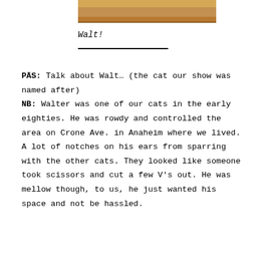[Figure (photo): Partial photo showing the bottom edge of an image, brown/orange tones, appears to be a framed or bordered photograph]
Walt!
PÄS: Talk about Walt… (the cat our show was named after)
NB: Walter was one of our cats in the early eighties. He was rowdy and controlled the area on Crone Ave. in Anaheim where we lived. A lot of notches on his ears from sparring with the other cats. They looked like someone took scissors and cut a few V's out. He was mellow though, to us, he just wanted his space and not be hassled.